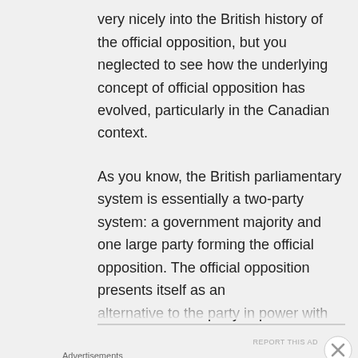very nicely into the British history of the official opposition, but you neglected to see how the underlying concept of official opposition has evolved, particularly in the Canadian context.
As you know, the British parliamentary system is essentially a two-party system: a government majority and one large party forming the official opposition. The official opposition presents itself as an alternative to the party in power with
Advertisements